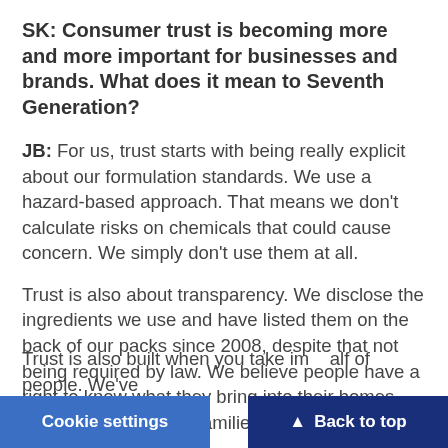SK: Consumer trust is becoming more and more important for businesses and brands. What does it mean to Seventh Generation?
JB: For us, trust starts with being really explicit about our formulation standards. We use a hazard-based approach. That means we don't calculate risks on chemicals that could cause concern. We simply don't use them at all.
Trust is also about transparency. We disclose the ingredients we use and have listed them on the back of our packs since 2008, despite that not being required by law. We believe people have a right to know what they bring into their homes and use around their families.
Trust is also built when you take im... alf of people. We've...
Cookie settings
Back to top